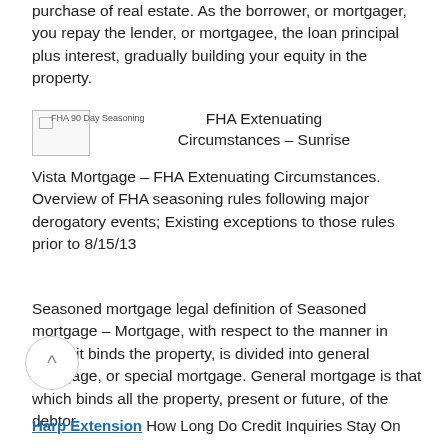purchase of real estate. As the borrower, or mortgager, you repay the lender, or mortgagee, the loan principal plus interest, gradually building your equity in the property.
[Figure (illustration): Broken image placeholder labeled 'FHA 90 Day Seasoning' next to text heading 'FHA Extenuating Circumstances – Sunrise Vista Mortgage – FHA Extenuating Circumstances.']
Vista Mortgage – FHA Extenuating Circumstances. Overview of FHA seasoning rules following major derogatory events; Existing exceptions to those rules prior to 8/15/13
Seasoned mortgage legal definition of Seasoned mortgage – Mortgage, with respect to the manner in which it binds the property, is divided into general mortgage, or special mortgage. General mortgage is that which binds all the property, present or future, of the debtor.
Harp Extension How Long Do Credit Inquiries Stay On